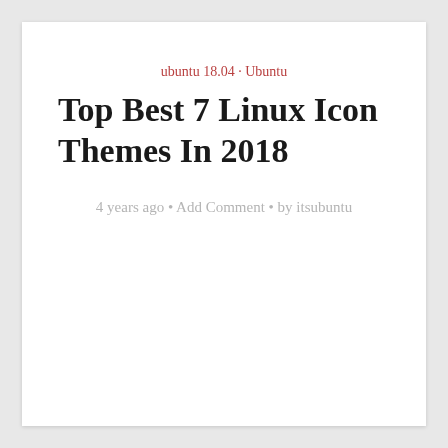ubuntu 18.04 · Ubuntu
Top Best 7 Linux Icon Themes In 2018
4 years ago • Add Comment • by itsubuntu